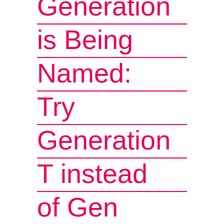Generation is Being Named: Try Generation T instead of Gen Alpha or